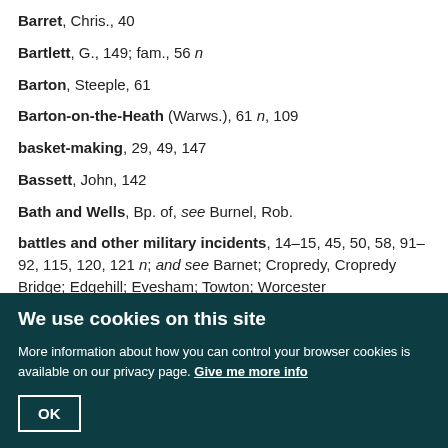Barret, Chris., 40
Bartlett, G., 149; fam., 56 n
Barton, Steeple, 61
Barton-on-the-Heath (Warws.), 61 n, 109
basket-making, 29, 49, 147
Bassett, John, 142
Bath and Wells, Bp. of, see Burnel, Rob.
battles and other military incidents, 14–15, 45, 50, 58, 91–92, 115, 120, 121 n; and see Barnet; Cropredy, Cropredy Bridge; Edgehill; Evesham; Towton; Worcester
Bayeux, Bp. of, see Odo
Baylis, John, 43; Thos., 40
Bearsted, Vcts., see Samuel, Marcus Ric.; Samuel, Wal. Horace
Beau, Wm., Vicar of Adderbury, Bp. of Llandaff, 33
We use cookies on this site
More information about how you can control your browser cookies is available on our privacy page. Give me more info
OK